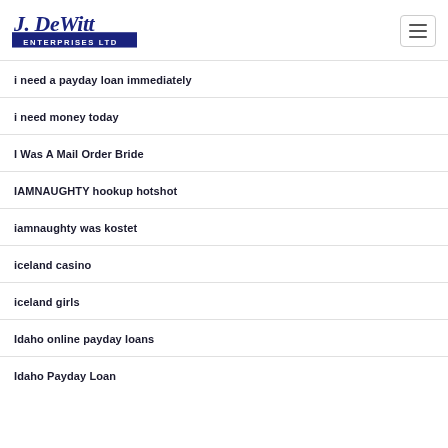J. DeWitt Enterprises Ltd
i need a payday loan immediately
i need money today
I Was A Mail Order Bride
IAMNAUGHTY hookup hotshot
iamnaughty was kostet
iceland casino
iceland girls
Idaho online payday loans
Idaho Payday Loan